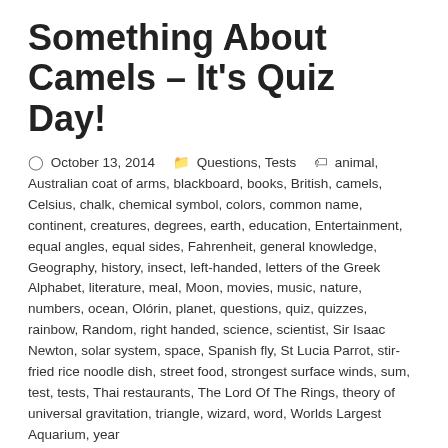Something About Camels – It's Quiz Day!
October 13, 2014   Questions, Tests   animal, Australian coat of arms, blackboard, books, British, camels, Celsius, chalk, chemical symbol, colors, common name, continent, creatures, degrees, earth, education, Entertainment, equal angles, equal sides, Fahrenheit, general knowledge, Geography, history, insect, left-handed, letters of the Greek Alphabet, literature, meal, Moon, movies, music, nature, numbers, ocean, Olórin, planet, questions, quiz, quizzes, rainbow, Random, right handed, science, scientist, Sir Isaac Newton, solar system, space, Spanish fly, St Lucia Parrot, stir-fried rice noodle dish, street food, strongest surface winds, sum, test, tests, Thai restaurants, The Lord Of The Rings, theory of universal gravitation, triangle, wizard, word, Worlds Largest Aquarium, year
“Fight Against Stupidity And Bureaucracy”